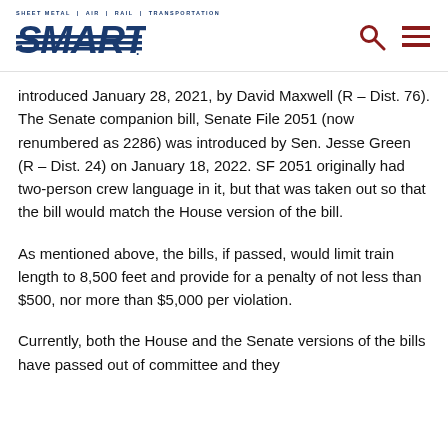SMART — Sheet Metal Air Rail Transportation
introduced January 28, 2021, by David Maxwell (R – Dist. 76). The Senate companion bill, Senate File 2051 (now renumbered as 2286) was introduced by Sen. Jesse Green (R – Dist. 24) on January 18, 2022. SF 2051 originally had two-person crew language in it, but that was taken out so that the bill would match the House version of the bill.
As mentioned above, the bills, if passed, would limit train length to 8,500 feet and provide for a penalty of not less than $500, nor more than $5,000 per violation.
Currently, both the House and the Senate versions of the bills have passed out of committee and they